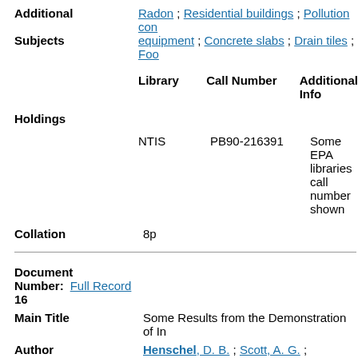Additional Subjects: Radon ; Residential buildings ; Pollution con equipment ; Concrete slabs ; Drain tiles ; Foo
| Library | Call Number | Additional Info |
| --- | --- | --- |
| NTIS | PB90-216391 | Some EPA libraries call number shown |
Holdings
Collation 8p
Document Number: Full Record 16
Main Title Some Results from the Demonstration of In
Author Henschel, D. B. ; Scott, A. G. ;